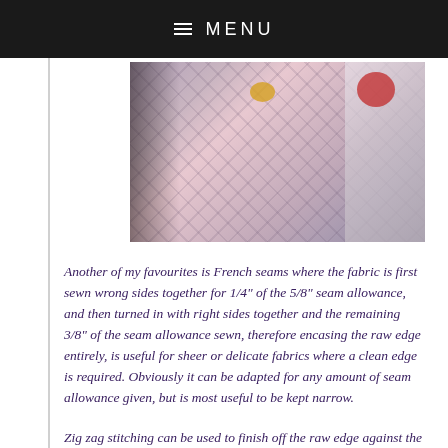≡ MENU
[Figure (photo): Close-up photograph of pink knitted or woven fabric with a diagonal diamond pattern, a yellow/golden small object on top, and what appears to be a red apple patterned fabric visible at the right edge.]
Another of my favourites is French seams where the fabric is first sewn wrong sides together for 1/4" of the 5/8" seam allowance, and then turned in with right sides together and the remaining 3/8" of the seam allowance sewn, therefore encasing the raw edge entirely, is useful for sheer or delicate fabrics where a clean edge is required. Obviously it can be adapted for any amount of seam allowance given, but is most useful to be kept narrow.
Zig zag stitching can be used to finish off the raw edge against the seam a